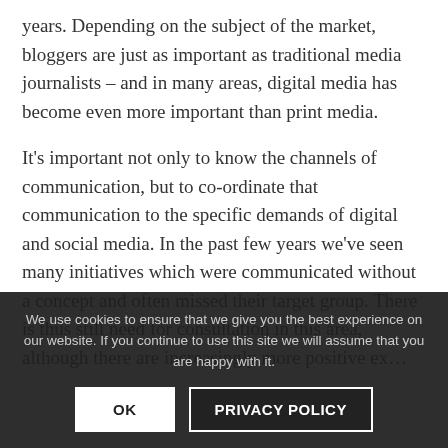years. Depending on the subject of the market, bloggers are just as important as traditional media journalists – and in many areas, digital media has become even more important than print media.
It's important not only to know the channels of communication, but to co-ordinate that communication to the specific demands of digital and social media. In the past few years we've seen many initiatives which were communicated without a concept and often missed their target group. There is thus still need for consultation in this area, although there are increasingly more positive ex…
We use cookies to ensure that we give you the best experience on our website. If you continue to use this site we will assume that you are happy with it.